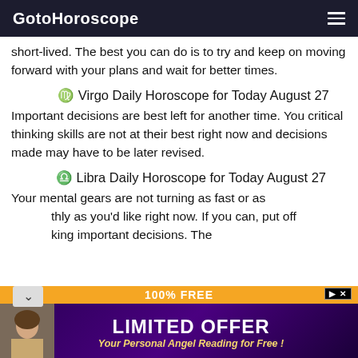GotoHoroscope
short-lived. The best you can do is to try and keep on moving forward with your plans and wait for better times.
♍ Virgo Daily Horoscope for Today August 27
Important decisions are best left for another time. You critical thinking skills are not at their best right now and decisions made may have to be later revised.
♎ Libra Daily Horoscope for Today August 27
Your mental gears are not turning as fast or as smoothly as you'd like right now. If you can, put off making important decisions. They will better
[Figure (infographic): Advertisement banner: orange bar showing '100% FREE', purple/dark background with 'LIMITED OFFER' in large white text and 'Your Personal Angel Reading for Free!' in italic yellow text, with a woman's photo on the left]